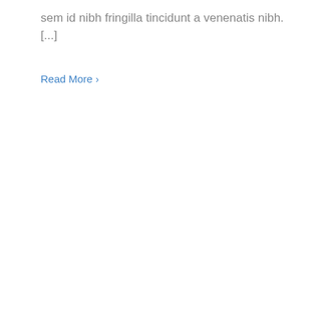sem id nibh fringilla tincidunt a venenatis nibh. [...]
Read More >